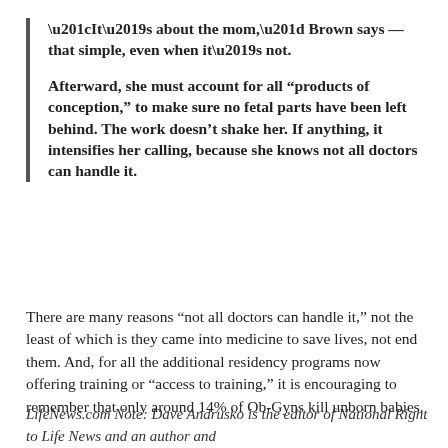“It’s about the mom,” Brown says — that simple, even when it’s not.
Afterward, she must account for all “products of conception,” to make sure no fetal parts have been left behind. The work doesn’t shake her. If anything, it intensifies her calling, because she knows not all doctors can handle it.
There are many reasons “not all doctors can handle it,” not the least of which is they came into medicine to save lives, not end them. And, for all the additional residency programs now offering training or “access to training,” it is encouraging to remember that only around 14% of Ob-Gyns kill unborn babies.
LifeNews.com Note: Dave Andrusko is the editor of National Right to Life News and an author and